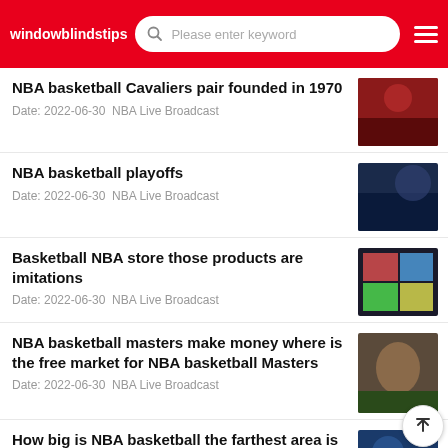windowblindstips — Please enter keyword
NBA basketball Cavaliers pair founded in 1970
Date: 2022-06-30  NBA Live Broadcast
NBA basketball playoffs
Date: 2022-06-30  NBA Live Broadcast
Basketball NBA store those products are imitations
Date: 2022-06-30  NBA Live Broadcast
NBA basketball masters make money where is the free market for NBA basketball Masters
Date: 2022-06-30  NBA Live Broadcast
How big is NBA basketball the farthest area is the arc area
Date: 2022-06-30  NBA Live Broadcast